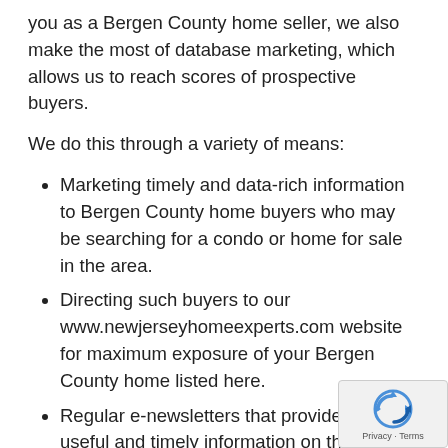you as a Bergen County home seller, we also make the most of database marketing, which allows us to reach scores of prospective buyers.
We do this through a variety of means:
Marketing timely and data-rich information to Bergen County home buyers who may be searching for a condo or home for sale in the area.
Directing such buyers to our www.newjerseyhomeexperts.com website for maximum exposure of your Bergen County home listed here.
Regular e-newsletters that provide highly useful and timely information on the Bergen County real estate market.
Not limiting our reach to just local buyers...